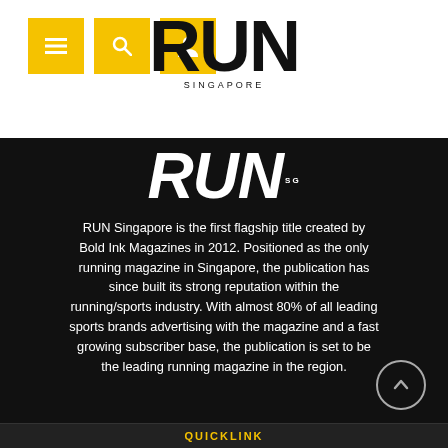[Figure (logo): RUN Singapore magazine logo in bold black text with 'SINGAPORE' subtitle, on white background]
[Figure (logo): RUN magazine italic logo in white on black background]
RUN Singapore is the first flagship title created by Bold Ink Magazines in 2012. Positioned as the only running magazine in Singapore, the publication has since built its strong reputation within the running/sports industry. With almost 80% of all leading sports brands advertising with the magazine and a fast growing subscriber base, the publication is set to be the leading running magazine in the region.
QUICKLINK